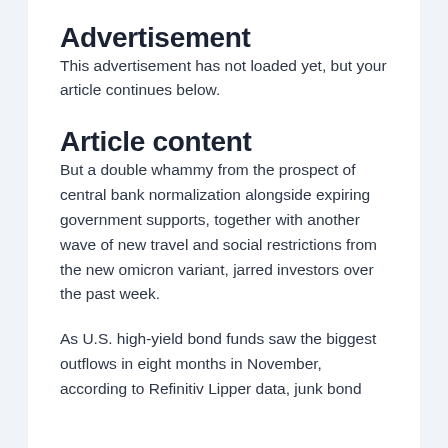Advertisement
This advertisement has not loaded yet, but your article continues below.
Article content
But a double whammy from the prospect of central bank normalization alongside expiring government supports, together with another wave of new travel and social restrictions from the new omicron variant, jarred investors over the past week.
As U.S. high-yield bond funds saw the biggest outflows in eight months in November, according to Refinitiv Lipper data, junk bond